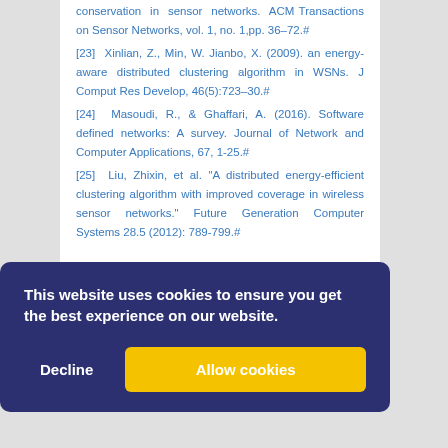conservation in sensor networks. ACM Transactions on Sensor Networks, vol. 1, no. 1,pp. 36–72.#
[23] Xinlian, Z., Min, W. Jianbo, X. (2009). an energy-aware distributed clustering algorithm in WSNs. J Comput Res Develop, 46(5):723–30.#
[24] Masoudi, R., & Ghaffari, A. (2016). Software defined networks: A survey. Journal of Network and Computer Applications, 67, 1-25.#
[25] Liu, Zhixin, et al. "A distributed energy-efficient clustering algorithm with improved coverage in wireless sensor networks." Future Generation Computer Systems 28.5 (2012): 789-799.#
This website uses cookies to ensure you get the best experience on our website.
Decline | Allow cookies